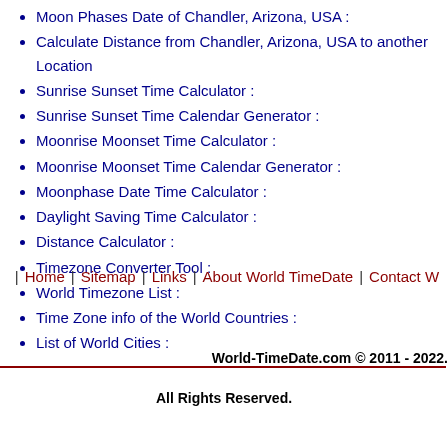Moon Phases Date of Chandler, Arizona, USA :
Calculate Distance from Chandler, Arizona, USA to another Location
Sunrise Sunset Time Calculator :
Sunrise Sunset Time Calendar Generator :
Moonrise Moonset Time Calculator :
Moonrise Moonset Time Calendar Generator :
Moonphase Date Time Calculator :
Daylight Saving Time Calculator :
Distance Calculator :
Timezone Converter Tool :
World Timezone List :
Time Zone info of the World Countries :
List of World Cities :
Home | Sitemap | Links | About World TimeDate | Contact W...
World-TimeDate.com © 2011 - 2022.
All Rights Reserved.